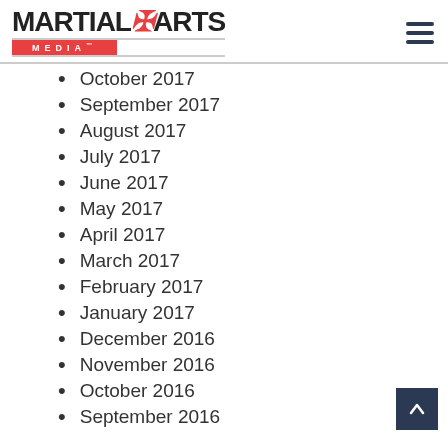MARTIAL ARTS MEDIA
October 2017
September 2017
August 2017
July 2017
June 2017
May 2017
April 2017
March 2017
February 2017
January 2017
December 2016
November 2016
October 2016
September 2016